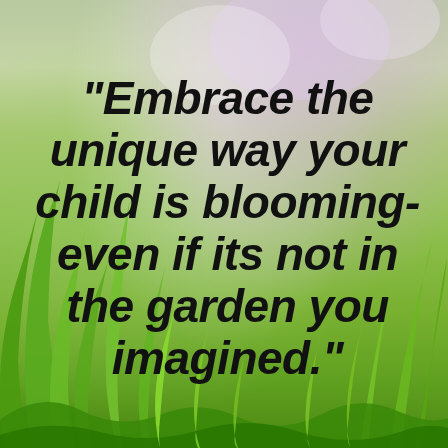[Figure (photo): Photographic background of green grass blades with soft bokeh, blurred purple and white light in the upper right, and a bright green gradient across the scene.]
"Embrace the unique way your child is blooming- even if its not in the garden you imagined."